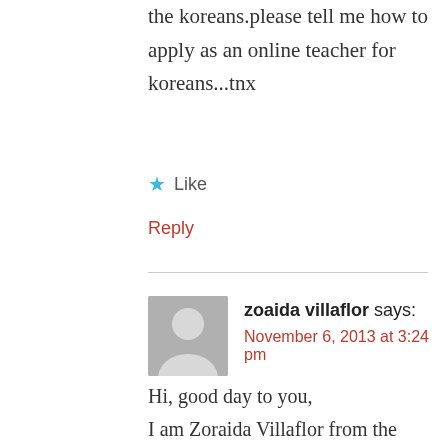the koreans.please tell me how to apply as an online teacher for koreans...tnx
★ Like
Reply
zoaida villaflor says:
November 6, 2013 at 3:24 pm
Hi, good day to you,
I am Zoraida Villaflor from the philippines,particularly in Cebu City, i am a college graduate and working in the Stock Market for 20 years, i would like to apply as an online english teacher. please help me.